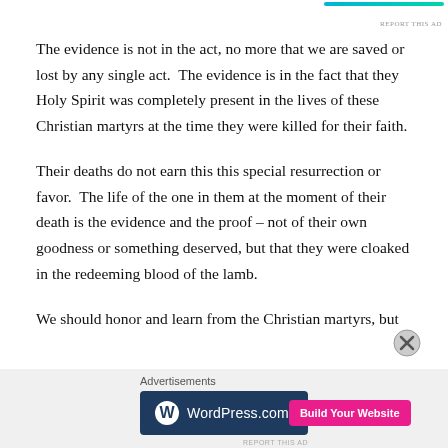The evidence is not in the act, no more that we are saved or lost by any single act.  The evidence is in the fact that they Holy Spirit was completely present in the lives of these Christian martyrs at the time they were killed for their faith.
Their deaths do not earn this this special resurrection or favor.  The life of the one in them at the moment of their death is the evidence and the proof – not of their own goodness or something deserved, but that they were cloaked in the redeeming blood of the lamb.
We should honor and learn from the Christian martyrs, but
Advertisements
[Figure (other): WordPress.com advertisement banner with dark navy background, WordPress logo and text on left, pink 'Build Your Website' button on right]